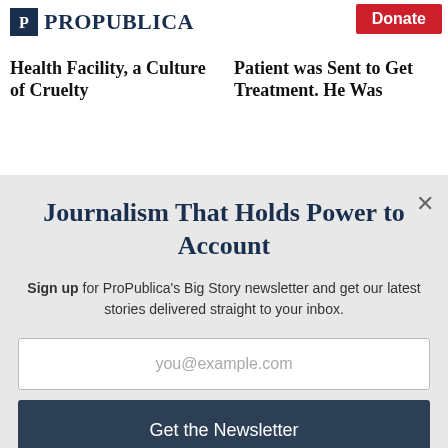ProPublica
Journalism That Holds Power to Account
Sign up for ProPublica's Big Story newsletter and get our latest stories delivered straight to your inbox.
you@example.com
Get the Newsletter
No thanks, I'm all set
This site is protected by reCAPTCHA and the Google Privacy Policy and Terms of Service apply.